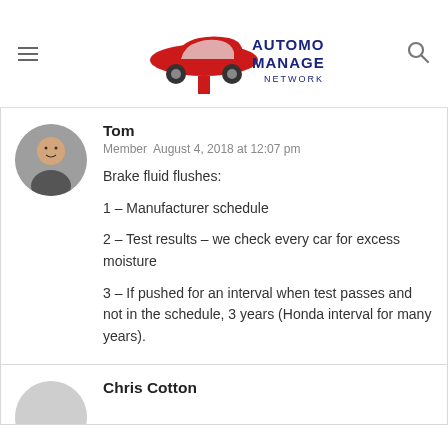Automotive Management Network
Tom
Member  August 4, 2018 at 12:07 pm

Brake fluid flushes:

1 – Manufacturer schedule

2 – Test results – we check every car for excess moisture

3 – If pushed for an interval when test passes and not in the schedule, 3 years (Honda interval for many years).
Chris Cotton